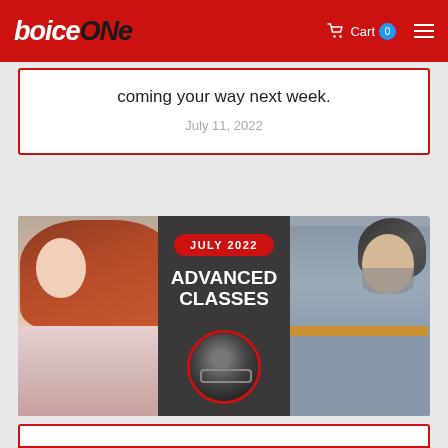VoiceONE — Cart 0
coming your way next week.
July 11, 2022
[Figure (photo): Promotional banner for July 2022 Advanced Classes at VoiceONE, featuring three people: a woman with red hair on the left, a man with a beard wearing a gray and mustard shirt on the right, and a smaller circular photo of a man at a recording booth in the center. A dark banner in the middle reads 'JULY 2022' in a red pill badge and 'ADVANCED CLASSES' in large white bold text.]